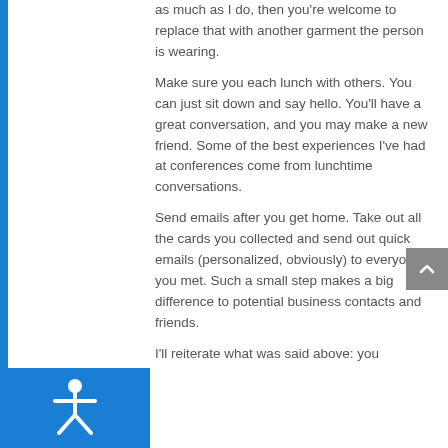as much as I do, then you're welcome to replace that with another garment the person is wearing.
Make sure you each lunch with others. You can just sit down and say hello. You'll have a great conversation, and you may make a new friend. Some of the best experiences I've had at conferences come from lunchtime conversations.
Send emails after you get home. Take out all the cards you collected and send out quick emails (personalized, obviously) to everyone you met. Such a small step makes a big difference to potential business contacts and friends.
I'll reiterate what was said above: you